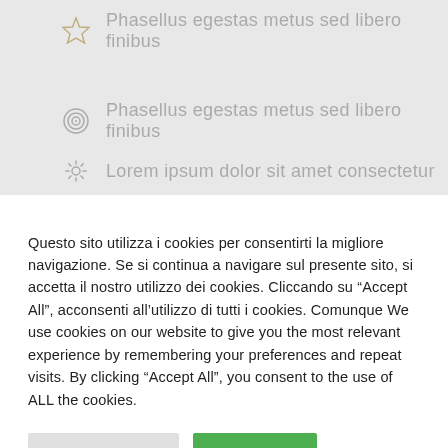Phasellus egestas metus sed libero finibus
Phasellus egestas metus sed libero finibus
Lorem ipsum dolor sit amet consectetur
Questo sito utilizza i cookies per consentirti la migliore navigazione. Se si continua a navigare sul presente sito, si accetta il nostro utilizzo dei cookies. Cliccando su “Accept All”, acconsenti all’utilizzo di tutti i cookies. Comunque We use cookies on our website to give you the most relevant experience by remembering your preferences and repeat visits. By clicking “Accept All”, you consent to the use of ALL the cookies.
Cookie Settings
Accept All